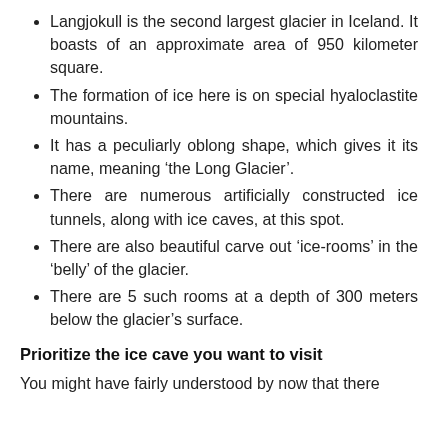Langjokull is the second largest glacier in Iceland. It boasts of an approximate area of 950 kilometer square.
The formation of ice here is on special hyaloclastite mountains.
It has a peculiarly oblong shape, which gives it its name, meaning ‘the Long Glacier’.
There are numerous artificially constructed ice tunnels, along with ice caves, at this spot.
There are also beautiful carve out ‘ice-rooms’ in the ‘belly’ of the glacier.
There are 5 such rooms at a depth of 300 meters below the glacier’s surface.
Prioritize the ice cave you want to visit
You might have fairly understood by now that there